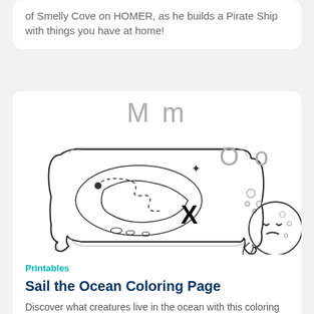of Smelly Cove on HOMER, as he builds a Pirate Ship with things you have at home!
[Figure (illustration): Letter M m header with illustration of a treasure map (showing dashed path, X mark, and scroll edges) alongside letter O o with a cartoon ocean creature/octopus and bubbles]
Printables
Sail the Ocean Coloring Page
Discover what creatures live in the ocean with this coloring page!